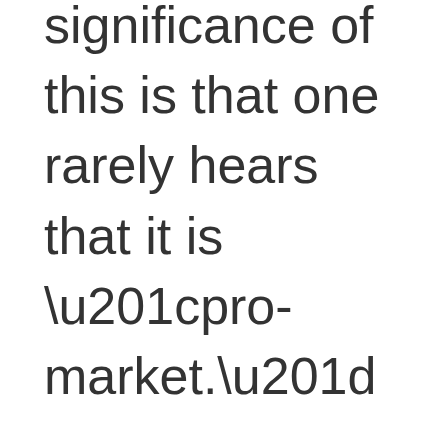significance of this is that one rarely hears that it is “pro-market.” The distinction is important.